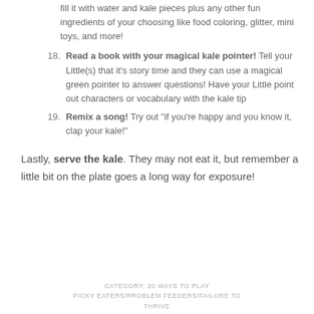fill it with water and kale pieces plus any other fun ingredients of your choosing like food coloring, glitter, mini toys, and more!
18. Read a book with your magical kale pointer! Tell your Little(s) that it’s story time and they can use a magical green pointer to answer questions! Have your Little point out characters or vocabulary with the kale tip
19. Remix a song! Try out “if you’re happy and you know it, clap your kale!”
Lastly, serve the kale. They may not eat it, but remember a little bit on the plate goes a long way for exposure!
CATEGORY: 20 WAYS TO PLAY
PICKY EATERS/PROBLEM FEEDERS/FAILURE TO THRIVE